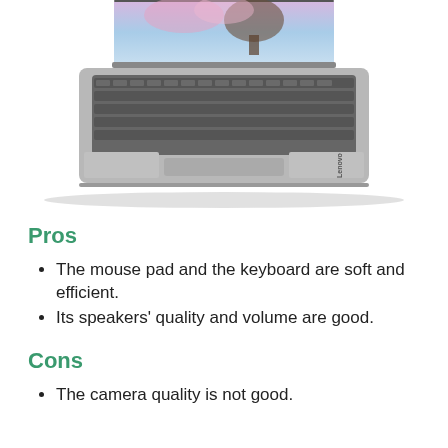[Figure (photo): A Lenovo laptop shown open from above at an angle, displaying the keyboard, trackpad, and part of the screen with a nature wallpaper. The laptop is silver/gray colored with the Lenovo logo visible on the palm rest.]
Pros
The mouse pad and the keyboard are soft and efficient.
Its speakers' quality and volume are good.
Cons
The camera quality is not good.